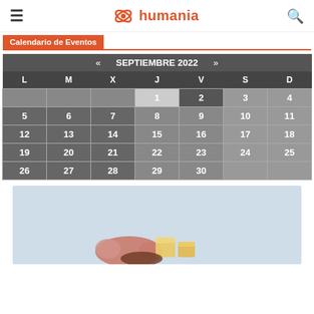humania
Calendario de Eventos
| L | M | X | J | V | S | D |
| --- | --- | --- | --- | --- | --- | --- |
|  |  |  | 1 | 2 | 3 | 4 |
| 5 | 6 | 7 | 8 | 9 | 10 | 11 |
| 12 | 13 | 14 | 15 | 16 | 17 | 18 |
| 19 | 20 | 21 | 22 | 23 | 24 | 25 |
| 26 | 27 | 28 | 29 | 30 |  |  |
[Figure (photo): Food image showing sausage, cheese cubes, and other food items on light blue background]